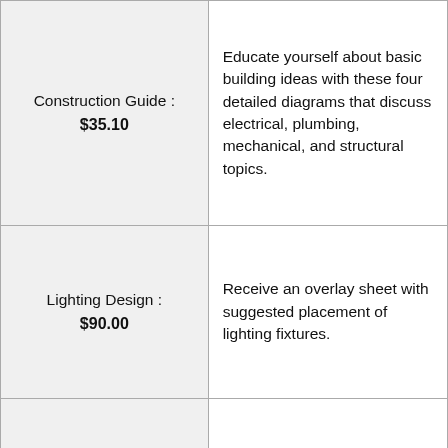| Item | Description |
| --- | --- |
| Construction Guide : $35.10 | Educate yourself about basic building ideas with these four detailed diagrams that discuss electrical, plumbing, mechanical, and structural topics. |
| Lighting Design : $90.00 | Receive an overlay sheet with suggested placement of lighting fixtures. |
|  | A mirror-reversed set is a printed copy of your house, resulting in the same image you would see if you |